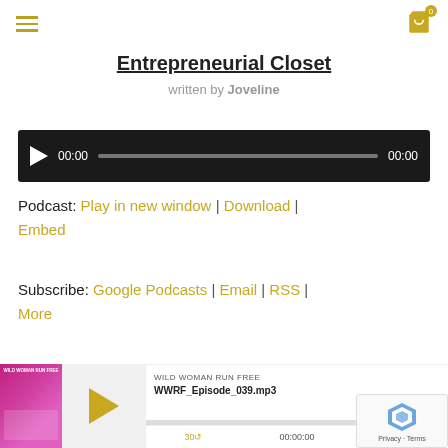≡  [cart icon] 0
Entrepreneurial Closet
written by Joveline
[Figure (screenshot): Audio player widget with black background, play button, progress bar showing 00:00 on both sides]
Podcast: Play in new window | Download | Embed
Subscribe: Google Podcasts | Email | RSS | More
[Figure (screenshot): Podcast player widget showing Wild Woman Run Free podcast with pink thumbnail image, play button, episode WWRF_Episode_039.mp3, controls showing 30 back, 00:00:00, 30 forward]
[Figure (screenshot): reCAPTCHA overlay showing spinning logo and Privacy - Terms text]